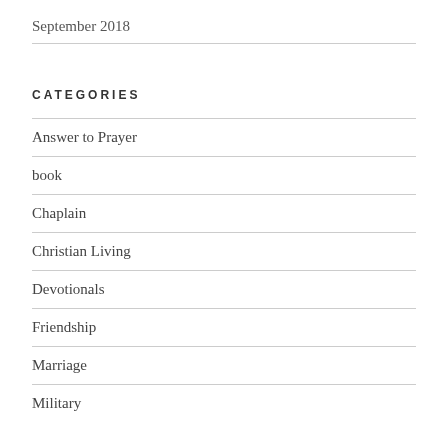September 2018
CATEGORIES
Answer to Prayer
book
Chaplain
Christian Living
Devotionals
Friendship
Marriage
Military